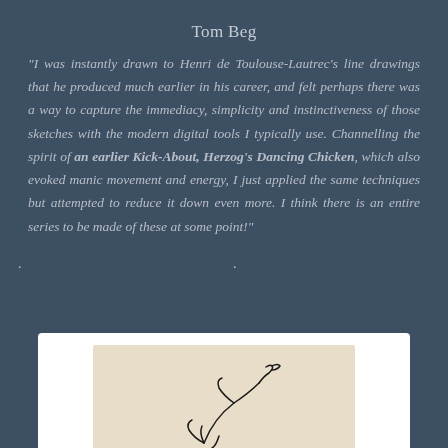Tom Beg
“I was instantly drawn to Henri de Toulouse-Lautrec’s line drawings that he produced much earlier in his career, and felt perhaps there was a way to capture the immediacy, simplicity and instinctiveness of those sketches with the modern digital tools I typically use. Channelling the spirit of an earlier Kick-About, Herzog’s Dancing Chicken, which also evoked manic movement and energy, I just applied the same techniques but attempted to reduce it down even more. I think there is an entire series to be made of these at some point!”
•      •      •
[Figure (illustration): A minimalist line drawing sketch of a figure or bird in motion, on a beige/tan background, within a white-bordered card at the bottom of the page. Only the top portion of the sketch is visible.]